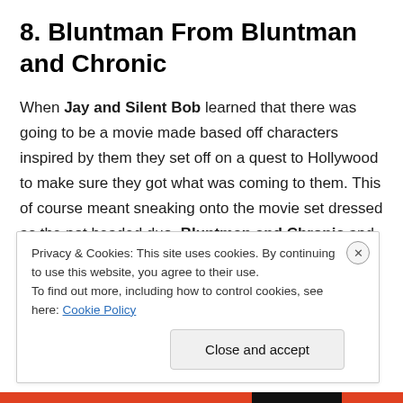8. Bluntman From Bluntman and Chronic
When Jay and Silent Bob learned that there was going to be a movie made based off characters inspired by them they set off on a quest to Hollywood to make sure they got what was coming to them. This of course meant sneaking onto the movie set dressed as the pot headed duo, Bluntman and Chronic and getting their asses kicked by
Privacy & Cookies: This site uses cookies. By continuing to use this website, you agree to their use. To find out more, including how to control cookies, see here: Cookie Policy